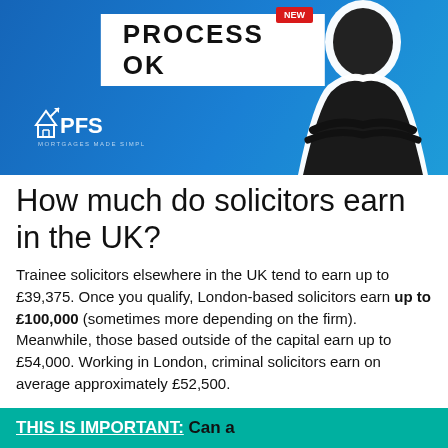[Figure (photo): PFS Mortgages Made Simple banner with 'PROCESS OK' text, PFS logo with house icon, and a man in black shirt with arms crossed on blue background]
How much do solicitors earn in the UK?
Trainee solicitors elsewhere in the UK tend to earn up to £39,375. Once you qualify, London-based solicitors earn up to £100,000 (sometimes more depending on the firm). Meanwhile, those based outside of the capital earn up to £54,000. Working in London, criminal solicitors earn on average approximately £52,500.
THIS IS IMPORTANT: Can a